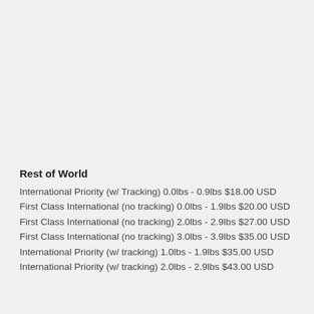Rest of World
International Priority (w/ Tracking) 0.0lbs - 0.9lbs $18.00 USD
First Class International (no tracking) 0.0lbs - 1.9lbs $20.00 USD
First Class International (no tracking) 2.0lbs - 2.9lbs $27.00 USD
First Class International (no tracking) 3.0lbs - 3.9lbs $35.00 USD
International Priority (w/ tracking) 1.0lbs - 1.9lbs $35.00 USD
International Priority (w/ tracking) 2.0lbs - 2.9lbs $43.00 USD